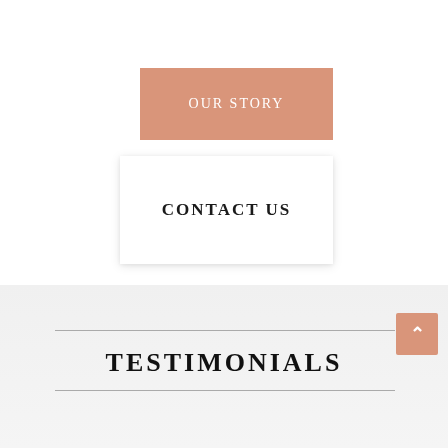OUR STORY
CONTACT US
TESTIMONIALS